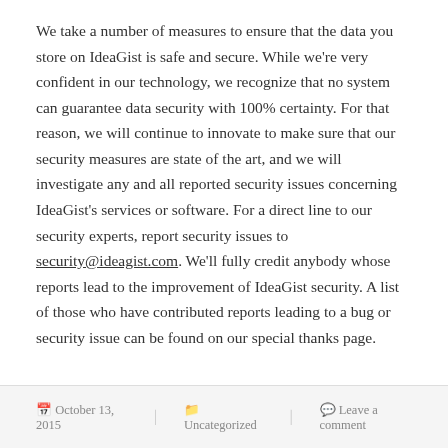We take a number of measures to ensure that the data you store on IdeaGist is safe and secure. While we're very confident in our technology, we recognize that no system can guarantee data security with 100% certainty. For that reason, we will continue to innovate to make sure that our security measures are state of the art, and we will investigate any and all reported security issues concerning IdeaGist's services or software. For a direct line to our security experts, report security issues to security@ideagist.com. We'll fully credit anybody whose reports lead to the improvement of IdeaGist security. A list of those who have contributed reports leading to a bug or security issue can be found on our special thanks page.
October 13, 2015   Uncategorized   Leave a comment